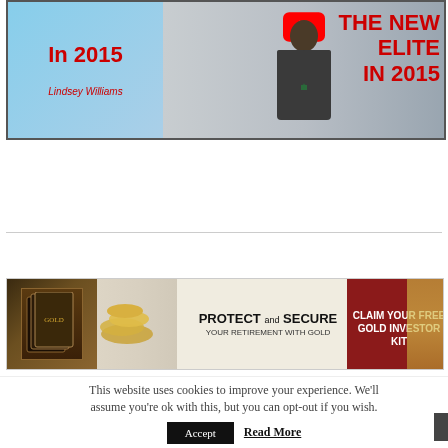[Figure (screenshot): YouTube video thumbnail showing a man in a suit with text 'In 2015', 'Lindsey Williams', 'THE NEW ELITE IN 2015' in red, and a YouTube play button icon]
CONTINUE READING
[Figure (infographic): Advertisement banner: PROTECT and SECURE YOUR RETIREMENT WITH GOLD — CLAIM YOUR FREE GOLD INVESTOR KIT]
This website uses cookies to improve your experience. We'll assume you're ok with this, but you can opt-out if you wish.
Accept
Read More